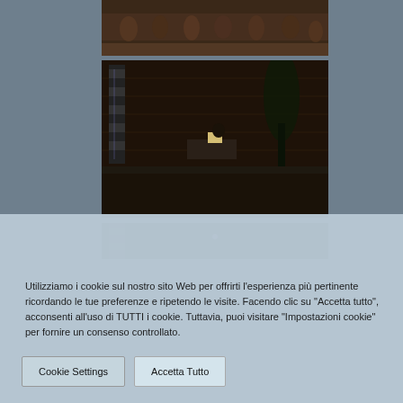[Figure (photo): Partial photo of musicians/orchestra seated on a stage, dark warm tones]
[Figure (photo): Photo of a nighttime outdoor concert/event with a speaker at a table, lighting rig on left, brick wall background, audience member visible at bottom right]
[Figure (photo): Partial photo showing bottom portion of lighting rig and dark stage area]
Utilizziamo i cookie sul nostro sito Web per offrirti l'esperienza più pertinente ricordando le tue preferenze e ripetendo le visite. Facendo clic su "Accetta tutto", acconsenti all'uso di TUTTI i cookie. Tuttavia, puoi visitare "Impostazioni cookie" per fornire un consenso controllato.
Cookie Settings
Accetta Tutto